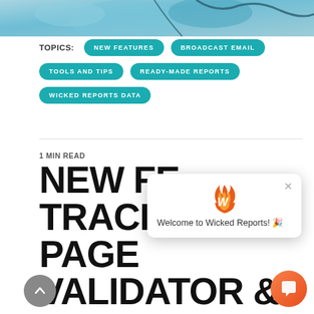[Figure (photo): Partial photo of a person wearing blue clothing or fabric, cropped at top of page]
TOPICS: NEW FEATURES  BROADCAST EMAIL  TOOLS AND TIPS  READY-MADE REPORTS  WICKED REPORTS DATA
1 MIN READ
NEW FE... TRACKING PAGE VALIDATOR &
[Figure (screenshot): Chat popup with Wicked Reports logo (flame W icon) and text 'Welcome to Wicked Reports! 🎉', with X close button]